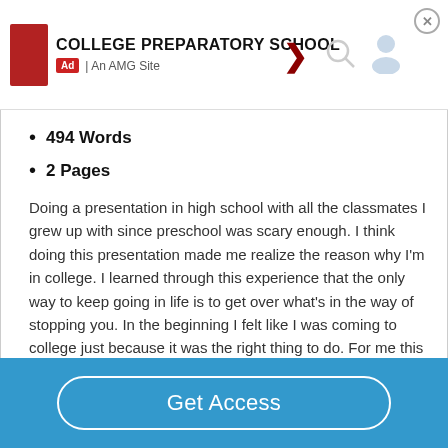[Figure (other): Advertisement banner for College Preparatory School, an AMG Site, with red logo box, arrow, search icon, person icon, and close button]
494 Words
2 Pages
Doing a presentation in high school with all the classmates I grew up with since preschool was scary enough. I think doing this presentation made me realize the reason why I'm in college. I learned through this experience that the only way to keep going in life is to get over what's in the way of stopping you. In the beginning I felt like I was coming to college just because it was the right thing to do. For me this was a turning point in my life, I realized the true meaning for me coming to college….
Get Access